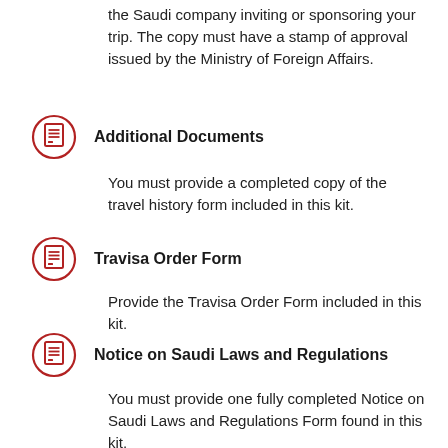the Saudi company inviting or sponsoring your trip. The copy must have a stamp of approval issued by the Ministry of Foreign Affairs.
Additional Documents
You must provide a completed copy of the travel history form included in this kit.
Travisa Order Form
Provide the Travisa Order Form included in this kit.
Notice on Saudi Laws and Regulations
You must provide one fully completed Notice on Saudi Laws and Regulations Form found in this kit.
Urgent Applications
If you have an urgent visa application that carries a tight